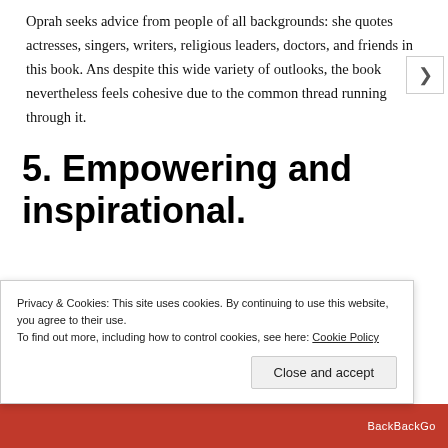Oprah seeks advice from people of all backgrounds: she quotes actresses, singers, writers, religious leaders, doctors, and friends in this book. Ans despite this wide variety of outlooks, the book nevertheless feels cohesive due to the common thread running through it.
5. Empowering and inspirational.
That common thread is a sense of empowerment, a feeling of optimism in the face of adversity. Part of that is based on
Privacy & Cookies: This site uses cookies. By continuing to use this website, you agree to their use.
To find out more, including how to control cookies, see here: Cookie Policy
Close and accept